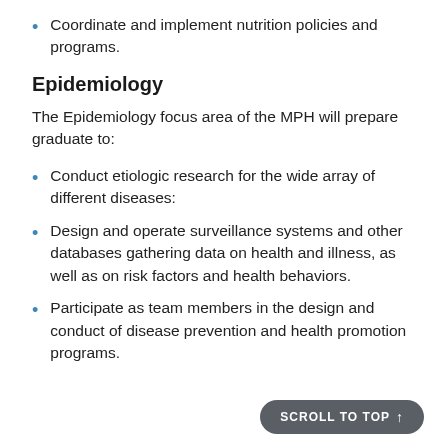Coordinate and implement nutrition policies and programs.
Epidemiology
The Epidemiology focus area of the MPH will prepare graduate to:
Conduct etiologic research for the wide array of different diseases:
Design and operate surveillance systems and other databases gathering data on health and illness, as well as on risk factors and health behaviors.
Participate as team members in the design and conduct of disease prevention and health promotion programs.